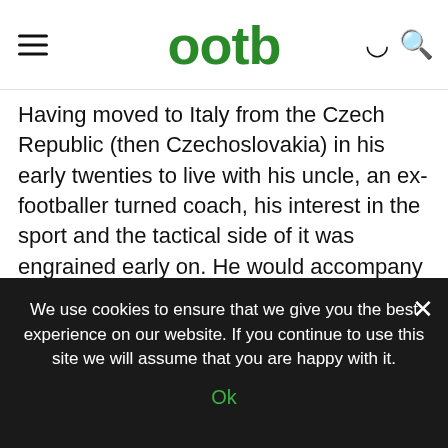ootb
Having moved to Italy from the Czech Republic (then Czechoslovakia) in his early twenties to live with his uncle, an ex-footballer turned coach, his interest in the sport and the tactical side of it was engrained early on. He would accompany his uncle to coaching sessions, raking in some early experience in the field.
If you’re reading this without a keen interest or following of the Italian game, there’s a very strong chance that you haven’t heard of Zdeněk Zeman.
We use cookies to ensure that we give you the best experience on our website. If you continue to use this site we will assume that you are happy with it.
Ok